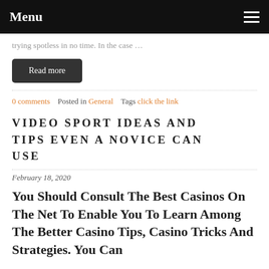Menu
trying spotless in no time. In the case …
Read more
0 comments   Posted in General   Tags click the link
VIDEO SPORT IDEAS AND TIPS EVEN A NOVICE CAN USE
February 18, 2020
You Should Consult The Best Casinos On The Net To Enable You To Learn Among The Better Casino Tips, Casino Tricks And Strategies. You Can